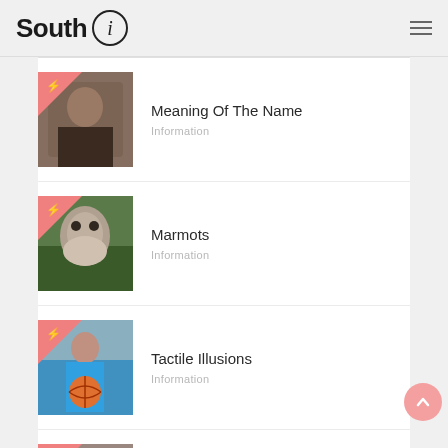South i
Meaning Of The Name
Information
Marmots
Information
Tactile Illusions
Information